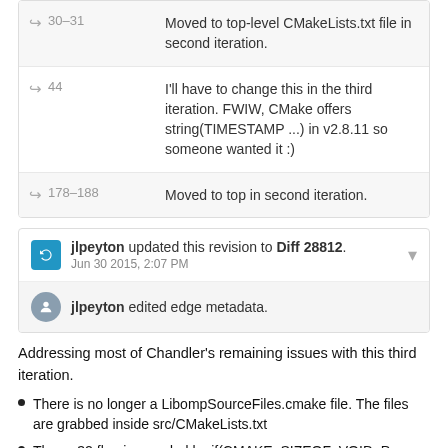| Line | Comment |
| --- | --- |
| 30–31 | Moved to top-level CMakeLists.txt file in second iteration. |
| 44 | I'll have to change this in the third iteration. FWIW, CMake offers string(TIMESTAMP ...) in v2.8.11 so someone wanted it :) |
| 178–188 | Moved to top in second iteration. |
jlpeyton updated this revision to Diff 28812. Jun 30 2015, 2:07 PM
jlpeyton edited edge metadata.
Addressing most of Chandler's remaining issues with this third iteration.
There is no longer a LibompSourceFiles.cmake file. The files are grabbed inside src/CMakeLists.txt
The -m32 flag is guarded by if(CMAKE_SIZEOF_VOID_P EQUAL 8) so we only use it when using a x86_64 toolchain to compile i386.